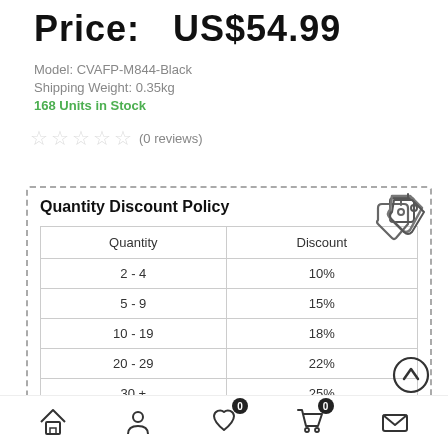Price:  US$54.99
Model: CVAFP-M844-Black
Shipping Weight: 0.35kg
168 Units in Stock
☆☆☆☆☆ (0 reviews)
Quantity Discount Policy
| Quantity | Discount |
| --- | --- |
| 2 - 4 | 10% |
| 5 - 9 | 15% |
| 10 - 19 | 18% |
| 20 - 29 | 22% |
| 30 + | 25% |
****45Days Refund Or Replacement,18Month Warranty.Free Shipping Worldwide From EU,AU,UK,US,HK Warehouse Enjoy Customs Duties Free.
Home | Account | Wishlist (0) | Cart (0) | Contact